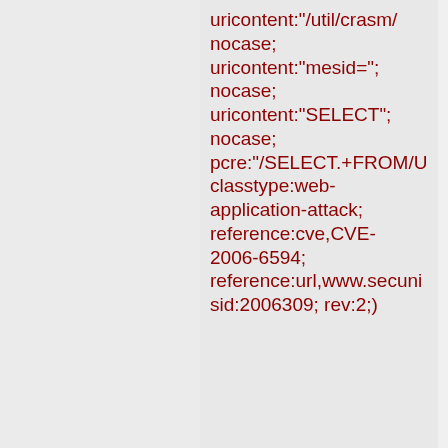uricontent:"/util/crasm/"; nocase; uricontent:"mesid="; nocase; uricontent:"SELECT"; nocase; pcre:"/SELECT.+FROM/U classtype:web-application-attack; reference:cve,CVE-2006-6594; reference:url,www.secuni sid:2006309; rev:2;)
Added 2007-08-14 01:02:11 UTC
alert tcp $EXTERNAL_NET any ->